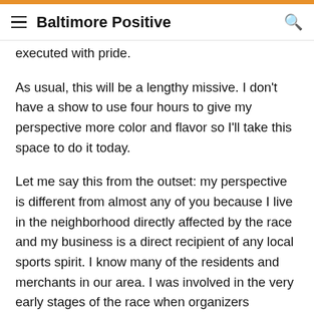Baltimore Positive
executed with pride.
As usual, this will be a lengthy missive. I don't have a show to use four hours to give my perspective more color and flavor so I'll take this space to do it today.
Let me say this from the outset: my perspective is different from almost any of you because I live in the neighborhood directly affected by the race and my business is a direct recipient of any local sports spirit. I know many of the residents and merchants in our area. I was involved in the very early stages of the race when organizers approached me looking for support and then later blatantly lied to me regarding WNST's involvement.
I have the original feasibility plan sitting on my desk so I'm